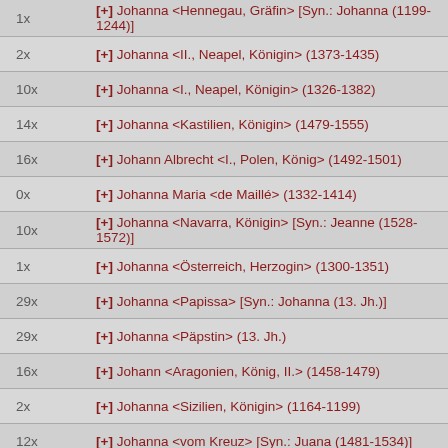1x   [+] Johanna <Hennegau, Gräfin> [Syn.: Johanna (1199-1244)]
2x   [+] Johanna <II., Neapel, Königin> (1373-1435)
10x  [+] Johanna <I., Neapel, Königin> (1326-1382)
14x  [+] Johanna <Kastilien, Königin> (1479-1555)
16x  [+] Johann Albrecht <I., Polen, König> (1492-1501)
0x   [+] Johanna Maria <de Maillé> (1332-1414)
10x  [+] Johanna <Navarra, Königin> [Syn.: Jeanne (1528-1572)]
1x   [+] Johanna <Österreich, Herzogin> (1300-1351)
29x  [+] Johanna <Papissa> [Syn.: Johanna (13. Jh.)]
29x  [+] Johanna <Päpstin> (13. Jh.)
16x  [+] Johann <Aragonien, König, II.> (1458-1479)
2x   [+] Johanna <Sizilien, Königin> (1164-1199)
12x  [+] Johanna <vom Kreuz> [Syn.: Juana (1481-1534)]
10x  [+] Johanna <von Anjou, I.> [Syn.: Johanna (1326-1382)]
2x   [+] Johanna <von Anjou, II.> [Syn.: Johanna (1373-1435)]